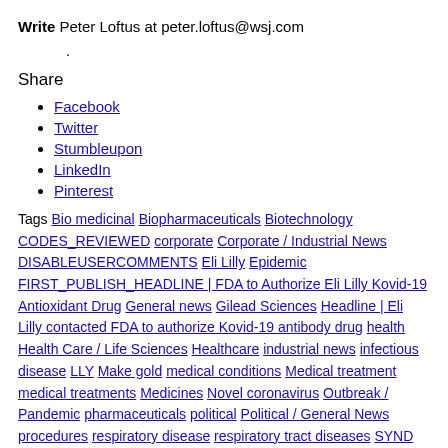Write Peter Loftus at peter.loftus@wsj.com
·
Share
Facebook
Twitter
Stumbleupon
LinkedIn
Pinterest
Tags Bio medicinal Biopharmaceuticals Biotechnology CODES_REVIEWED corporate Corporate / Industrial News DISABLEUSERCOMMENTS Eli Lilly Epidemic FIRST_PUBLISH_HEADLINE | FDA to Authorize Eli Lilly Kovid-19 Antioxidant Drug General news Gilead Sciences Headline | Eli Lilly contacted FDA to authorize Kovid-19 antibody drug health Health Care / Life Sciences Healthcare industrial news infectious disease LLY Make gold medical conditions Medical treatment medical treatments Medicines Novel coronavirus Outbreak / Pandemic pharmaceuticals political Political / General News procedures respiratory disease respiratory tract diseases SYND the biology the outbreak